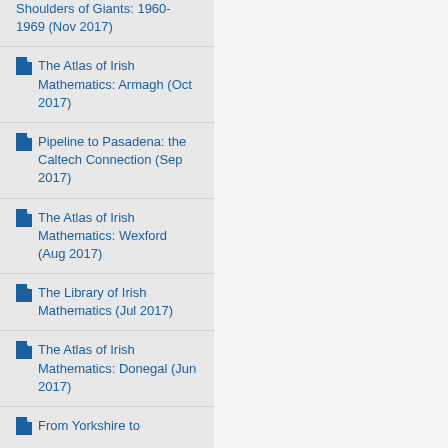Shoulders of Giants: 1960-1969 (Nov 2017)
The Atlas of Irish Mathematics: Armagh (Oct 2017)
Pipeline to Pasadena: the Caltech Connection (Sep 2017)
The Atlas of Irish Mathematics: Wexford (Aug 2017)
The Library of Irish Mathematics (Jul 2017)
The Atlas of Irish Mathematics: Donegal (Jun 2017)
From Yorkshire to